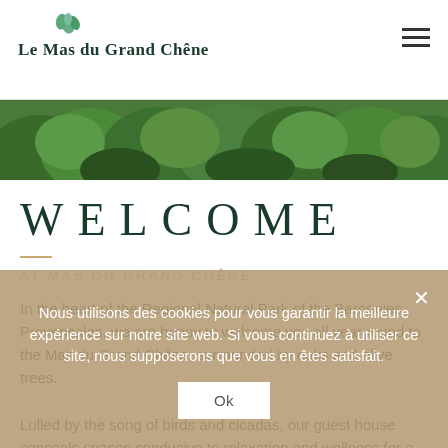Le Mas du Grand Chêne
[Figure (photo): Green tree canopy/foliage hero banner image]
WELCOME
AT MAS DU GRAND CHÊNE
In the heart of the Regional Natural Park of the Baronnies Provençales, we are happy to welcome you all year round to the Mas du Grand Chêne, surrounded by oaks and olive trees. Lulled by the song of birds and cicadas, our guest house conceals spaces conducive to relaxation and wellness for a gentle stay.
Nous utilisons des cookies pour vous garantir la meilleure expérience sur notre site web. Si vous continuez à utiliser ce site, nous supposerons que vous en êtes satisfait.